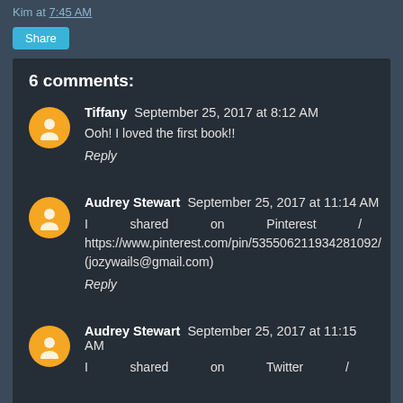Kim at 7:45 AM
Share
6 comments:
Tiffany September 25, 2017 at 8:12 AM
Ooh! I loved the first book!!
Reply
Audrey Stewart September 25, 2017 at 11:14 AM
I shared on Pinterest / https://www.pinterest.com/pin/535506211934281092/ (jozywails@gmail.com)
Reply
Audrey Stewart September 25, 2017 at 11:15 AM
I shared on Twitter /